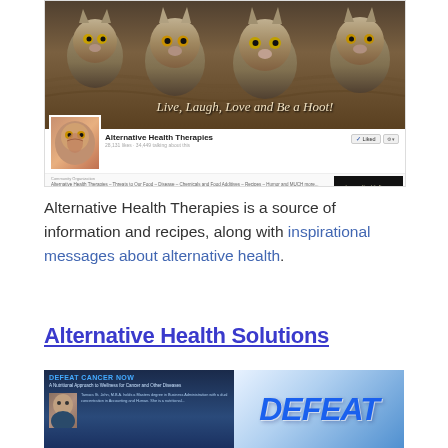[Figure (screenshot): Facebook page screenshot for 'Alternative Health Therapies' showing a cover photo of cats/owls in a nest with the motto 'Live, Laugh, Love and Be a Hoot!', profile avatar of an owl, 28,131 likes, 34,449 talking about this, community organization description about alternative health therapies, threats to food, disease, chemicals and food additives, recipes, humor and more.]
Alternative Health Therapies is a source of information and recipes, along with inspirational messages about alternative health.
Alternative Health Solutions
[Figure (screenshot): Screenshot of a book/page titled 'DEFEAT CANCER NOW - A Nutritional Approach to Wellness for Cancer and Other Diseases' showing an author named Tamara St. John, M.B.A. who holds a Masters degree in Business Administration with a dual concentration in Accounting and Human. The word DEFEAT appears in large blue letters on the right side over a light blue background.]